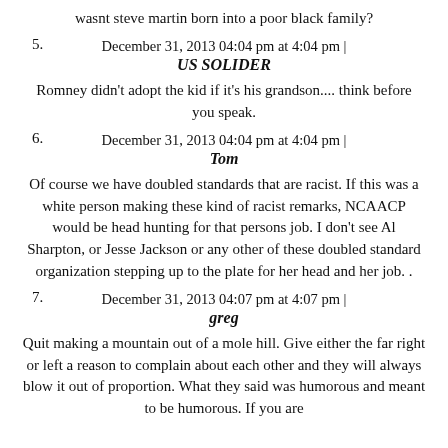wasnt steve martin born into a poor black family?
December 31, 2013 04:04 pm at 4:04 pm |
5. US SOLIDER
Romney didn't adopt the kid if it's his grandson.... think before you speak.
December 31, 2013 04:04 pm at 4:04 pm |
6. Tom
Of course we have doubled standards that are racist. If this was a white person making these kind of racist remarks, NCAACP would be head hunting for that persons job. I don't see Al Sharpton, or Jesse Jackson or any other of these doubled standard organization stepping up to the plate for her head and her job. .
December 31, 2013 04:07 pm at 4:07 pm |
7. greg
Quit making a mountain out of a mole hill. Give either the far right or left a reason to complain about each other and they will always blow it out of proportion. What they said was humorous and meant to be humorous. If you are